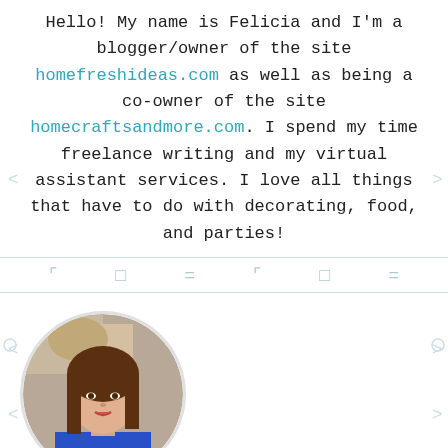Hello! My name is Felicia and I'm a blogger/owner of the site homefreshideas.com as well as being a co-owner of the site homecraftsandmore.com. I spend my time freelance writing and my virtual assistant services. I love all things that have to do with decorating, food, and parties!
[Figure (illustration): Decorative icon row divider with small geometric symbols (corner brackets, squares, equals signs) in light teal/grey color]
[Figure (photo): Circular portrait photo of a woman with brown hair wearing a blue sleeveless top, set against a stone wall background]